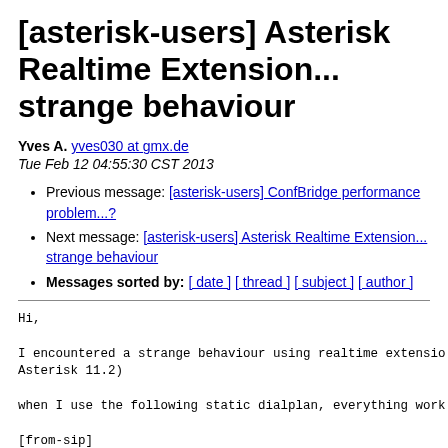[asterisk-users] Asterisk Realtime Extension... strange behaviour
Yves A. yves030 at gmx.de
Tue Feb 12 04:55:30 CST 2013
Previous message: [asterisk-users] ConfBridge performance problem...?
Next message: [asterisk-users] Asterisk Realtime Extension... strange behaviour
Messages sorted by: [ date ] [ thread ] [ subject ] [ author ]
Hi,

I encountered a strange behaviour using realtime extensio
Asterisk 11.2)

when I use the following static dialplan, everything work

[from-sip]
exten =>  110,1,Dial(DAHDI/g0/${EXTEN})